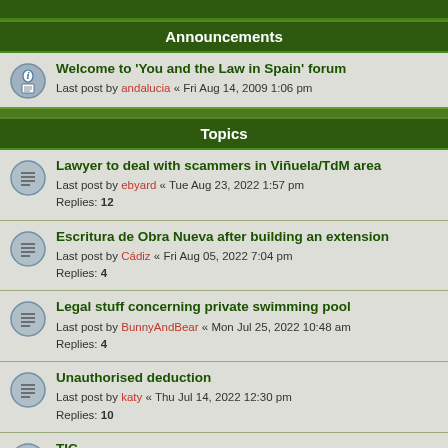Announcements
Welcome to 'You and the Law in Spain' forum
Last post by andalucia « Fri Aug 14, 2009 1:06 pm
Topics
Lawyer to deal with scammers in Viñuela/TdM area
Last post by ebyard « Tue Aug 23, 2022 1:57 pm
Replies: 12
Escritura de Obra Nueva after building an extension
Last post by Cádiz « Fri Aug 05, 2022 7:04 pm
Replies: 4
Legal stuff concerning private swimming pool
Last post by BunnyAndBear « Mon Jul 25, 2022 10:48 am
Replies: 4
Unauthorised deduction
Last post by katy « Thu Jul 14, 2022 12:30 pm
Replies: 10
TIC
Last post by Lyric « Wed Jul 13, 2022 9:19 am